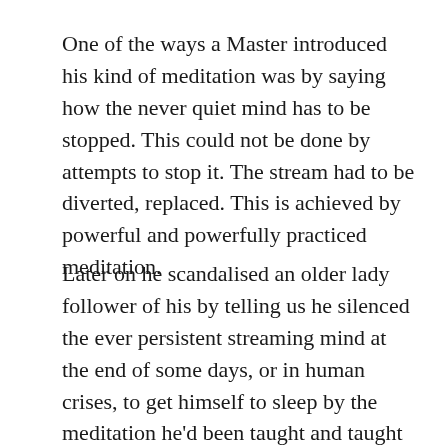One of the ways a Master introduced his kind of meditation was by saying how the never quiet mind has to be stopped. This could not be done by attempts to stop it. The stream had to be diverted, replaced. This is achieved by powerful and powerfully practiced meditation.
Later on he scandalised an older lady follower of his by telling us he silenced the ever persistent streaming mind at the end of some days, or in human crises, to get himself to sleep by the meditation he'd been taught and taught us. The lady worried this was misuse of